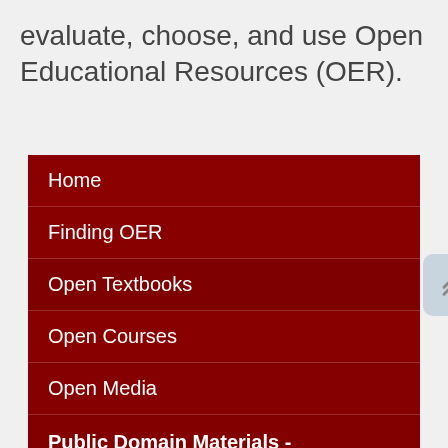evaluate, choose, and use Open Educational Resources (OER).
Home
Finding OER
Open Textbooks
Open Courses
Open Media
Public Domain Materials - Libraries, Archives, & Museums
For Faculty
Creative Commons Licensing